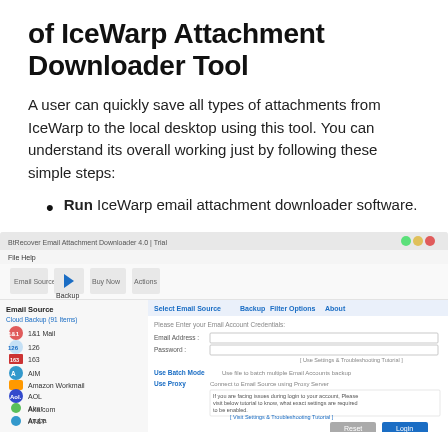of IceWarp Attachment Downloader Tool
A user can quickly save all types of attachments from IceWarp to the local desktop using this tool. You can understand its overall working just by following these simple steps:
Run IceWarp email attachment downloader software.
[Figure (screenshot): Screenshot of IceWarp Email Attachment Downloader tool showing the main interface with Email Source panel on the left listing various email providers (1&1 Mail, 126, 163, AIM, Amazon Workmail, AOL, Airor, Aruba, Axa.com, AT&T, Axigen, Bluehost, BOL, BT Mail, BTOpenWorld Mail) and the main panel showing Select Email Source, Backup, Filter Options, About tabs with email credentials form fields (Email Address, Password), Use Batch Mode, Use Proxy options, and Reset/Login buttons.]